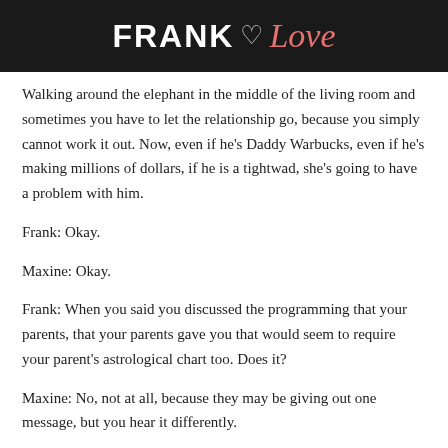FRANK Love
Walking around the elephant in the middle of the living room and sometimes you have to let the relationship go, because you simply cannot work it out. Now, even if he's Daddy Warbucks, even if he's making millions of dollars, if he is a tightwad, she's going to have a problem with him.
Frank: Okay.
Maxine: Okay.
Frank: When you said you discussed the programming that your parents, that your parents gave you that would seem to require your parent's astrological chart too. Does it?
Maxine: No, not at all, because they may be giving out one message, but you hear it differently.
Frank: Uh-huh.